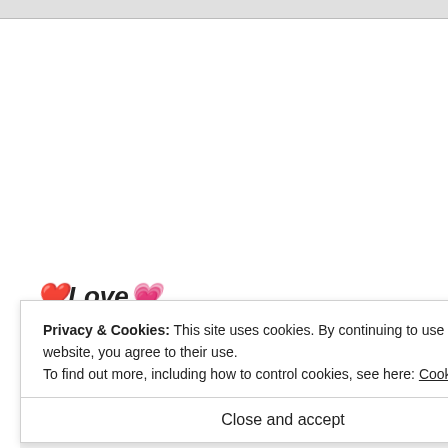[Figure (screenshot): Top grey navigation bar of a webpage]
❤️Love💗
🌺Soni🌺
Advertisements
Privacy & Cookies: This site uses cookies. By continuing to use this website, you agree to their use.
To find out more, including how to control cookies, see here: Cookie Policy
Close and accept
REPORT THIS AD